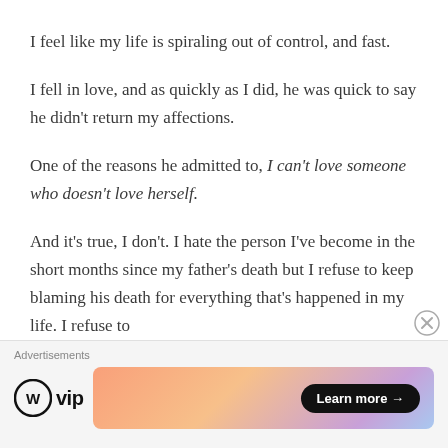I feel like my life is spiraling out of control, and fast.
I fell in love, and as quickly as I did, he was quick to say he didn't return my affections.
One of the reasons he admitted to, I can't love someone who doesn't love herself.
And it's true, I don't. I hate the person I've become in the short months since my father's death but I refuse to keep blaming his death for everything that's happened in my life. I refuse to
[Figure (other): WordPress VIP advertisement banner with Learn more button]